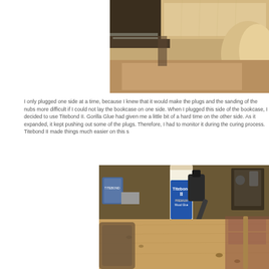[Figure (photo): Close-up photo of a wooden bookcase joint or corner showing light-colored wood grain and construction details]
I only plugged one side at a time, because I knew that it would make the plugs and the sanding of the nubs more difficult if I could not lay the bookcase on one side. When I plugged this side of the bookcase, I decided to use Titebond II. Gorilla Glue had given me a little bit of a hard time on the other side. As it expanded, it kept pushing out some of the plugs. Therefore, I had to monitor it during the curing process. Titebond II made things much easier on this s
[Figure (photo): Workshop photo showing a bottle of Titebond II Premium Wood Glue and a rubber mallet on a wooden board with plug holes, surrounded by woodworking tools]